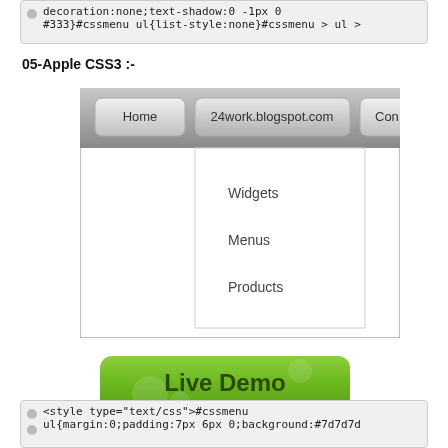[Figure (screenshot): Top code block showing CSS text: decoration:none;text-shadow:0 -1px 0 #333}#cssmenu ul{list-style:none}#cssmenu > ul >]
05-Apple CSS3 :-
[Figure (screenshot): Screenshot of an Apple CSS3 navigation menu with a gray gradient top bar showing buttons: Home, 24work.blogspot.com, Con(tact). A dropdown is expanded under 24work.blogspot.com showing items: Widgets, Menus, Products. White background with border.]
[Figure (other): Green rounded rectangle Live Demo button with text 'Live Demo' in dark text]
[Figure (screenshot): Bottom code block showing CSS text: <style type="text/css">#cssmenu ul{margin:0;padding:7px 6px 0;background:#7d7d7d]